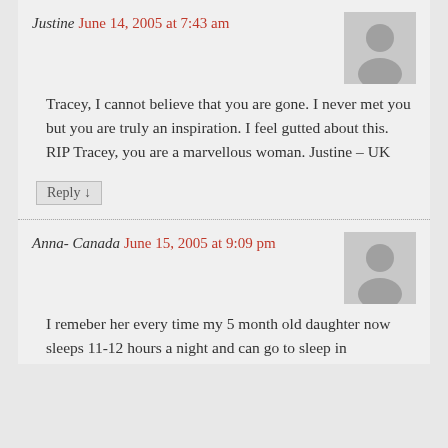Justine June 14, 2005 at 7:43 am
Tracey, I cannot believe that you are gone. I never met you but you are truly an inspiration. I feel gutted about this. RIP Tracey, you are a marvellous woman. Justine – UK
Reply ↓
Anna- Canada June 15, 2005 at 9:09 pm
I remeber her every time my 5 month old daughter now sleeps 11-12 hours a night and can go to sleep in